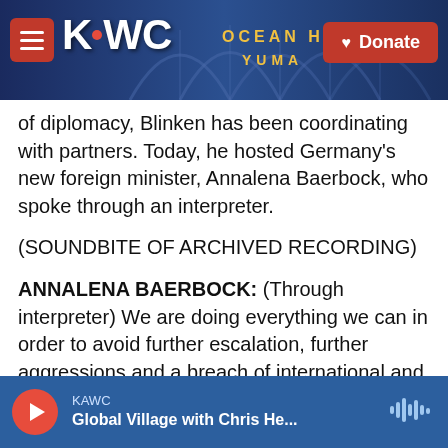[Figure (screenshot): KAWC radio station website header banner with logo, hamburger menu, and Donate button over a roller coaster background image]
of diplomacy, Blinken has been coordinating with partners. Today, he hosted Germany's new foreign minister, Annalena Baerbock, who spoke through an interpreter.
(SOUNDBITE OF ARCHIVED RECORDING)
ANNALENA BAERBOCK: (Through interpreter) We are doing everything we can in order to avoid further escalation, further aggressions and a breach of international and European law.
KELEMEN: Germany is a key country. Along with
[Figure (screenshot): KAWC audio player bar at the bottom showing play button, station name KAWC, and show title Global Village with Chris He...]